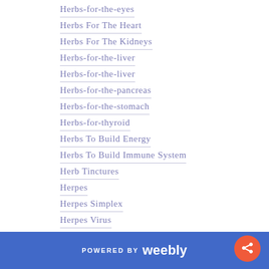Herbs-for-the-eyes
Herbs For The Heart
Herbs For The Kidneys
Herbs-for-the-liver
Herbs-for-the-liver
Herbs-for-the-pancreas
Herbs-for-the-stomach
Herbs-for-thyroid
Herbs To Build Energy
Herbs To Build Immune System
Herb Tinctures
Herpes
Herpes Simplex
Herpes Virus
High Blood Pressure
High Blood Sugar
High Cholesterol
POWERED BY weebly